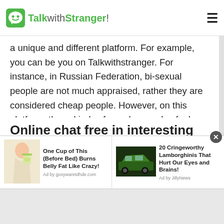TalkwithStranger!
a unique and different platform. For example, you can be you on Talkwithstranger. For instance, in Russian Federation, bi-sexual people are not much appraised, rather they are considered cheap people. However, on this platform, these kinds of people can also feel loved. Since there are people from all around the world that are present on Russian chat sites to chat with the people of Russian Federation. Some of the reasons that make this platform different are explained below.
Online chat free in interesting
[Figure (advertisement): Ad: One Cup of This (Before Bed) Burns Belly Fat Like Crazy! Ad by goxywaretdhde.com — image of woman drinking from cup]
[Figure (advertisement): Ad: 20 Cringeworthy Lamborghinis That Hurt Our Eyes and Brains! Ad by JillyNews — image of green Lamborghini car]